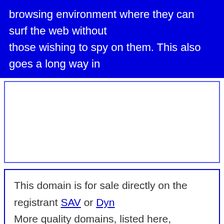browsing environment where they can surf the web without those wishing to spy on them. This also goes a long way in
This domain is for sale directly on the registrant SAV or Dyn More quality domains, listed here, available for sale.
Premium Domains for Sale
Domain